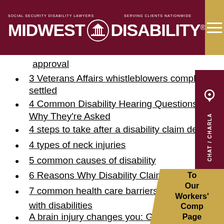MIDWEST DISABILITY® — SOCIAL SECURITY DISABILITY LAWYERS — SERVING CLIENTS NATIONWIDE
approval
3 Veterans Affairs whistleblowers complaints settled
4 Common Disability Hearing Questions and Why They're Asked
4 steps to take after a disability claim denial
4 types of neck injuries
5 common causes of disability
6 Reasons Why Disability Claims Are Denied
7 common health care barriers for th… with disabilities
A brain injury changes you: Get the…